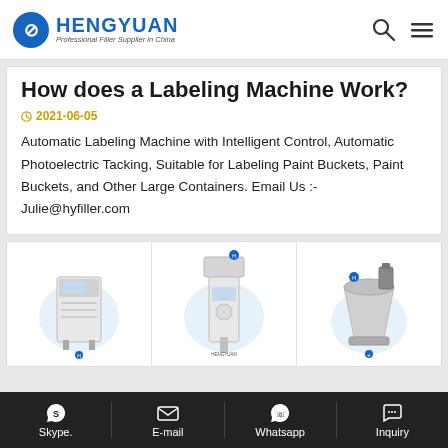HENGYUAN — Professional Filler Supplier in China
How does a Labeling Machine Work?
2021-06-05
Automatic Labeling Machine with Intelligent Control, Automatic Photoelectric Tacking, Suitable for Labeling Paint Buckets, Paint Buckets, and Other Large Containers. Email Us :- Julie@hyfiller.com
[Figure (photo): Three product images of filling machines in a grid layout]
Skype.  E-mail  Whatsapp  Inquiry